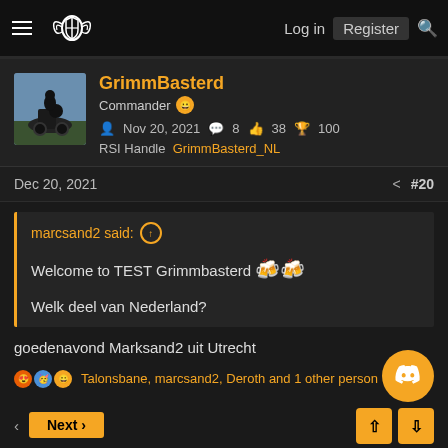GrimmBasterd | Commander | Nov 20, 2021 | 8 | 38 | 100 | RSI Handle GrimmBasterd_NL
Dec 20, 2021 #20
marcsand2 said: ↑

Welcome to TEST Grimmbasterd 🍻

Welk deel van Nederland?
goedenavond Marksand2 uit Utrecht
Talonsbane, marcsand2, Deroth and 1 other person